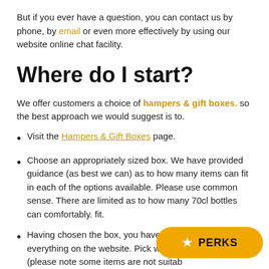But if you ever have a question, you can contact us by phone, by email or even more effectively by using our website online chat facility.
Where do I start?
We offer customers a choice of hampers & gift boxes. so the best approach we would suggest is to.
Visit the Hampers & Gift Boxes page.
Choose an appropriately sized box. We have provided guidance (as best we can) as to how many items can fit in each of the options available. Please use common sense. There are limited as to how many 70cl bottles can comfortably. fit.
Having chosen the box, you have full access to everything on the website. Pick whatever you like (please note some items are not suitable for transportation). Add items to the basket.